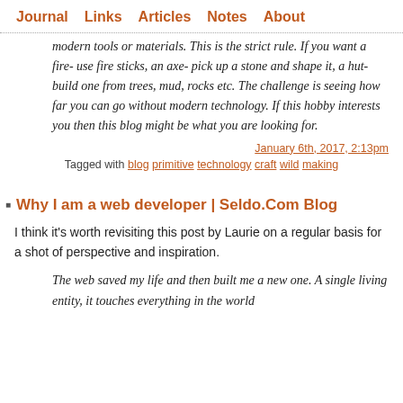Journal  Links  Articles  Notes  About
modern tools or materials. This is the strict rule. If you want a fire- use fire sticks, an axe- pick up a stone and shape it, a hut- build one from trees, mud, rocks etc. The challenge is seeing how far you can go without modern technology. If this hobby interests you then this blog might be what you are looking for.
January 6th, 2017, 2:13pm
Tagged with blog primitive technology craft wild making
Why I am a web developer | Seldo.Com Blog
I think it's worth revisiting this post by Laurie on a regular basis for a shot of perspective and inspiration.
The web saved my life and then built me a new one. A single living entity, it touches everything in the world